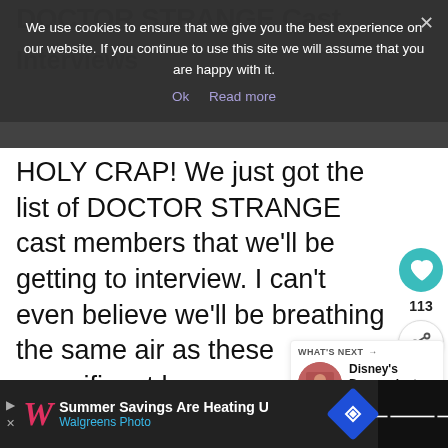DOCTOR STRANGE Cast Interviews
HOLY CRAP! We just got the list of DOCTOR STRANGE cast members that we'll be getting to interview. I can't even believe we'll be breathing the same air as these magnificent humans.
Cookie banner: We use cookies to ensure that we give you the best experience on our website. If you continue to use this site we will assume that you are happy with it. Ok  Read more
[Figure (infographic): Heart/like button (teal circle with heart icon) with count 113, and share button below]
[Figure (infographic): What's Next panel with thumbnail image and text: Disney's Descendant...]
[Figure (infographic): Bottom ad bar: Walgreens - Summer Savings Are Heating U / Walgreens Photo, with navigation icon and audio icon on right]